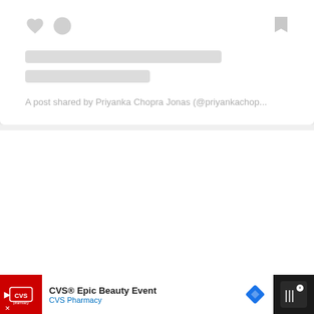[Figure (screenshot): Top social media post card with placeholder skeleton loading lines and gray icon placeholders for like/comment/bookmark]
A post shared by Priyanka Chopra Jonas (@priyankachop...
[Figure (screenshot): White content area with three gray dots indicating carousel/slideshow, gold heart like button with count 18, share button, and 'What's Next' next article preview showing '15 Rustic Farmhouse...']
[Figure (screenshot): Ad bar at bottom: CVS® Epic Beauty Event - CVS Pharmacy advertisement with pharmacy logo and diamond navigation icon]